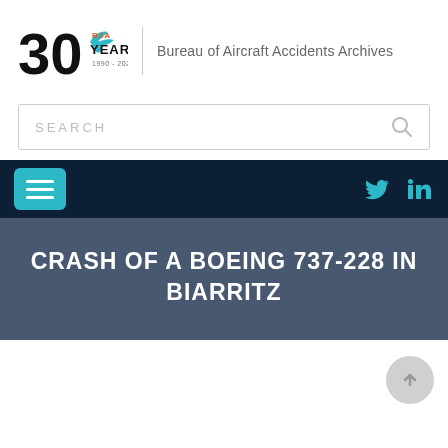[Figure (logo): Bureau of Aircraft Accidents Archives 30 Years logo (1990-2020) with bird silhouette and B3A text]
Bureau of Aircraft Accidents Archives
[Figure (screenshot): Search bar with placeholder text SEARCH and magnifying glass icon]
[Figure (screenshot): Dark navy navigation bar with teal hamburger menu button on left and Twitter and LinkedIn icons on right]
CRASH OF A BOEING 737-228 IN BIARRITZ
[Figure (other): Circular scroll/back-to-top button in light gray]